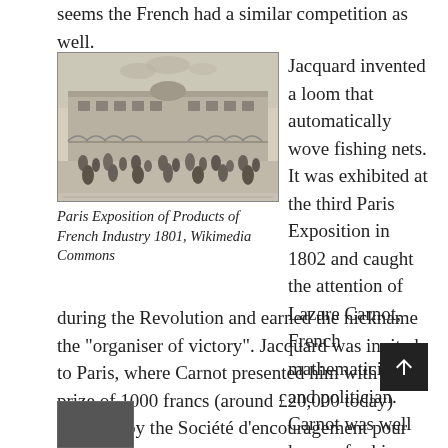seems the French had a similar competition as well.
[Figure (illustration): Historic engraving of Paris Exposition of Products of French Industry 1801, showing a large courtyard with crowds of people and grand classical architecture]
Paris Exposition of Products of French Industry 1801, Wikimedia Commons
Jacquard invented a loom that automatically wove fishing nets. It was exhibited at the third Paris Exposition in 1802 and caught the attention of Lazare Carnot, French mathematician and politician. Carnot was well known for his military role during the Revolution and earned the nickname the “organiser of victory”. Jacquard was invited to Paris, where Carnot presented him with the prize of 1000 francs (around £20,000 today) awarded by the Société d’encouragement pour l’industrie Nationale (Society for Encouraging National Industry).
[Figure (photo): Partial image at bottom left of page, appears to be a dark historical photograph or illustration]